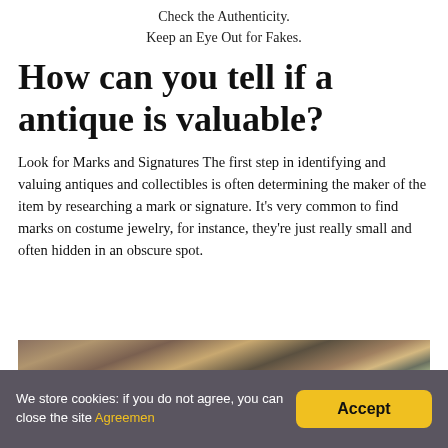Check the Authenticity.
Keep an Eye Out for Fakes.
How can you tell if a antique is valuable?
Look for Marks and Signatures The first step in identifying and valuing antiques and collectibles is often determining the maker of the item by researching a mark or signature. It’s very common to find marks on costume jewelry, for instance, they’re just really small and often hidden in an obscure spot.
[Figure (photo): A cluttered collection of antique items including glass bottles, metal objects, lamps, candlesticks, and various collectibles arranged on a surface. A sign reading 'TRADE IS VITAL' is partially visible in the background.]
We store cookies: if you do not agree, you can close the site Agreemen